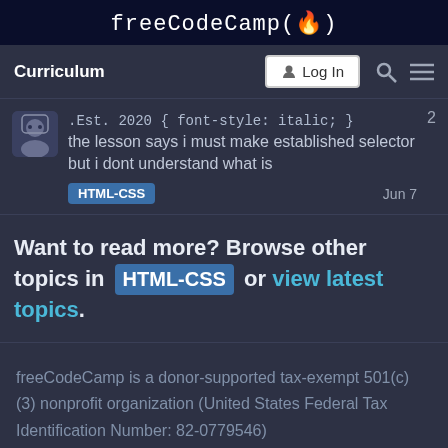freeCodeCamp(🔥)
Curriculum | Log In
.Est. 2020 { font-style: italic; } the lesson says i must make established selector but i dont understand what is — HTML-CSS — Jun 7 — 2
Want to read more? Browse other topics in HTML-CSS or view latest topics.
freeCodeCamp is a donor-supported tax-exempt 501(c) (3) nonprofit organization (United States Federal Tax Identification Number: 82-0779546)